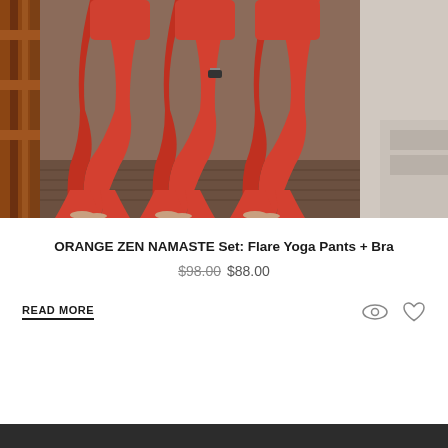[Figure (photo): Three people wearing matching orange/red flare yoga pants standing on a wooden deck with railing visible on the left side.]
ORANGE ZEN NAMASTE Set: Flare Yoga Pants + Bra
$98.00 $88.00
READ MORE